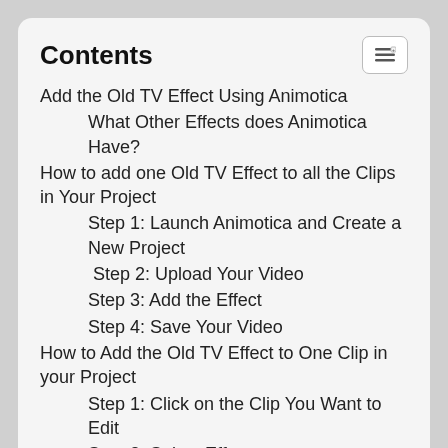Contents
Add the Old TV Effect Using Animotica
What Other Effects does Animotica Have?
How to add one Old TV Effect to all the Clips in Your Project
Step 1: Launch Animotica and Create a New Project
Step 2: Upload Your Video
Step 3: Add the Effect
Step 4: Save Your Video
How to Add the Old TV Effect to One Clip in your Project
Step 1: Click on the Clip You Want to Edit
Step 2: Select Effect
How to Add the Old TV Effect to One Frame from the Same Clip!
Step 1: Find Effect Layer
Step 2: Select Your Effect